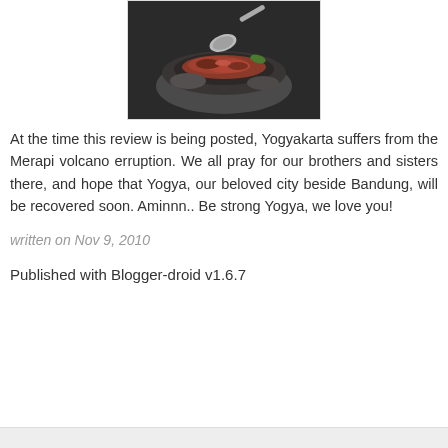[Figure (photo): Close-up photo of food (appears to be sambal or chili paste) in a stone mortar with a spoon, dark background]
At the time this review is being posted, Yogyakarta suffers from the Merapi volcano erruption. We all pray for our brothers and sisters there, and hope that Yogya, our beloved city beside Bandung, will be recovered soon. Aminnn.. Be strong Yogya, we love you!
written on Nov 9, 2010
Published with Blogger-droid v1.6.7